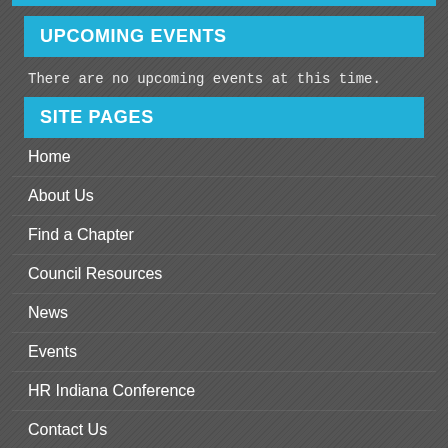UPCOMING EVENTS
There are no upcoming events at this time.
SITE PAGES
Home
About Us
Find a Chapter
Council Resources
News
Events
HR Indiana Conference
Contact Us